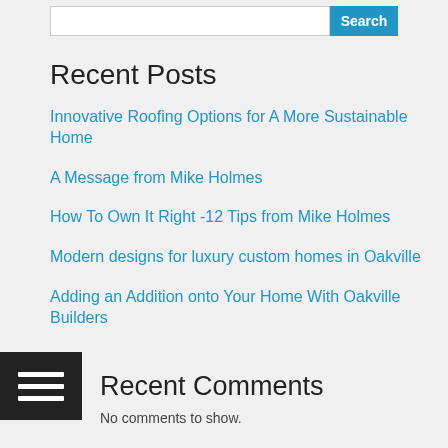Recent Posts
Innovative Roofing Options for A More Sustainable Home
A Message from Mike Holmes
How To Own It Right -12 Tips from Mike Holmes
Modern designs for luxury custom homes in Oakville
Adding an Addition onto Your Home With Oakville Builders
Recent Comments
No comments to show.